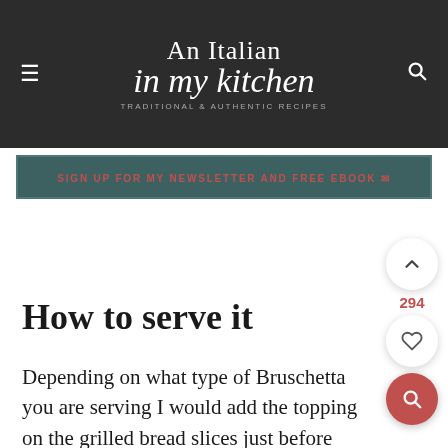An Italian in my kitchen
SIGN UP FOR MY NEWSLETTER AND FREE EBOOK
How to serve it
Depending on what type of Bruschetta you are serving I would add the topping on the grilled bread slices just before serving. This helps prevent the bread from becoming soggy, or you can always serve